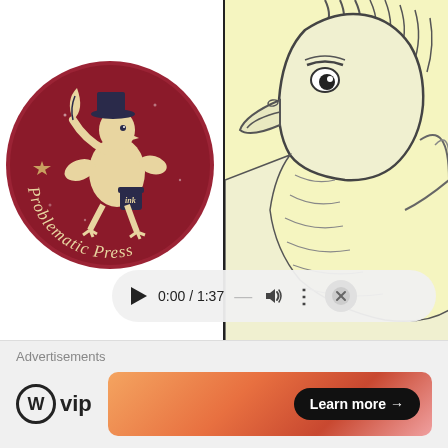[Figure (logo): Problematic Press logo: a circular dark red badge with a cartoon eagle/bird character holding a quill and ink pot, with a star, and the text 'Problematic Press' along the bottom arc]
[Figure (illustration): Close-up pencil sketch of a bird (eagle or similar) head and upper body on a light yellow background, showing detailed feathers and beak]
[Figure (screenshot): Video player controls bar showing play button, timestamp '0:00 / 1:37', progress bar dash, volume icon, options dots, and close button]
Advertisements
[Figure (logo): WordPress VIP logo: circular W icon followed by 'vip' text in bold]
[Figure (infographic): Advertisement banner with warm orange-red gradient and a 'Learn more →' button]